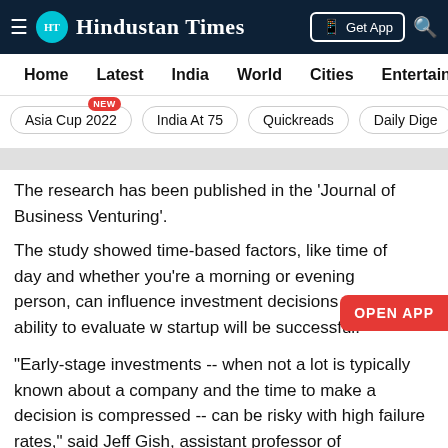Hindustan Times
Home   Latest   India   World   Cities   Entertainment
Asia Cup 2022  NEW   India At 75   Quickreads   Daily Dige
The research has been published in the 'Journal of Business Venturing'.
The study showed time-based factors, like time of day and whether you're a morning or evening person, can influence investment decisions and your ability to evaluate w... startup will be successful.
"Early-stage investments -- when not a lot is typically known about a company and the time to make a decision is compressed -- can be risky with high failure rates," said Jeff Gish, assistant professor of management at UCF and a co-author of the story.